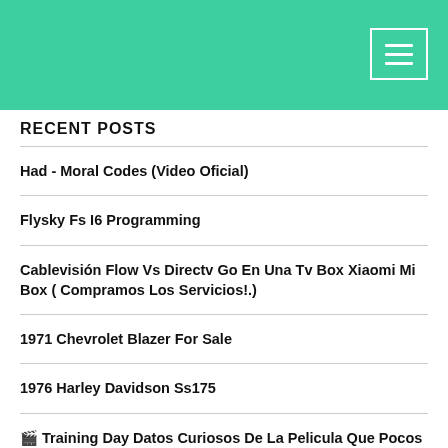RECENT POSTS
Had - Moral Codes (Video Oficial)
Flysky Fs I6 Programming
Cablevisión Flow Vs Directv Go En Una Tv Box Xiaomi Mi Box ( Compramos Los Servicios!.)
1971 Chevrolet Blazer For Sale
1976 Harley Davidson Ss175
🎬 Training Day Datos Curiosos De La Pelicula Que Pocos Conociamos